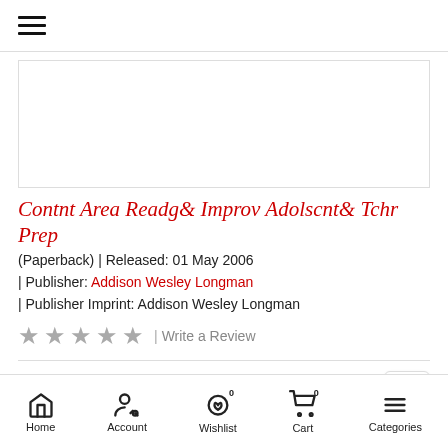≡ (hamburger menu)
[Figure (photo): Book cover image placeholder box (empty white rectangle with border)]
Contnt Area Readg& Improv Adolscnt& Tchr Prep
(Paperback) | Released: 01 May 2006
| Publisher: Addison Wesley Longman
| Publisher Imprint: Addison Wesley Longman
★ ★ ★ ★ ★ | Write a Review
Rs.7,767
Home | Account | Wishlist | Cart | Categories